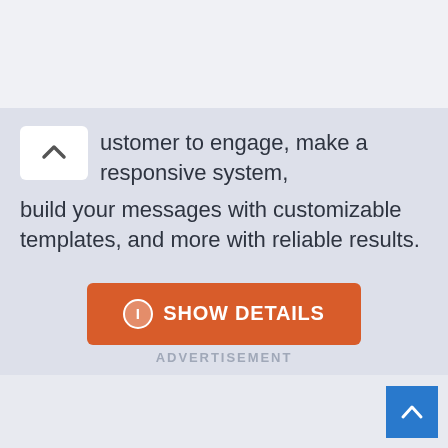ustomer to engage, make a responsive system, build your messages with customizable templates, and more with reliable results.
[Figure (other): Orange button labeled SHOW DETAILS with an info icon]
ADVERTISEMENT